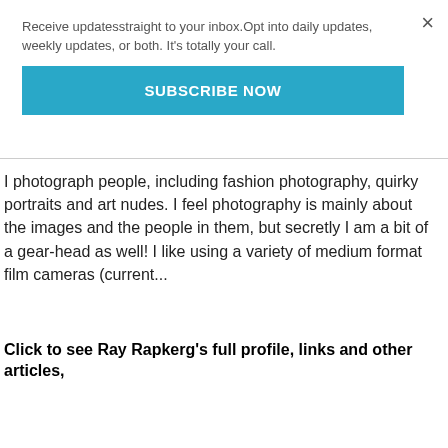×
Receive updatesstraight to your inbox.Opt into daily updates, weekly updates, or both. It's totally your call.
SUBSCRIBE NOW
I photograph people, including fashion photography, quirky portraits and art nudes. I feel photography is mainly about the images and the people in them, but secretly I am a bit of a gear-head as well! I like using a variety of medium format film cameras (current...
Click to see Ray Rapkerg's full profile, links and other articles,